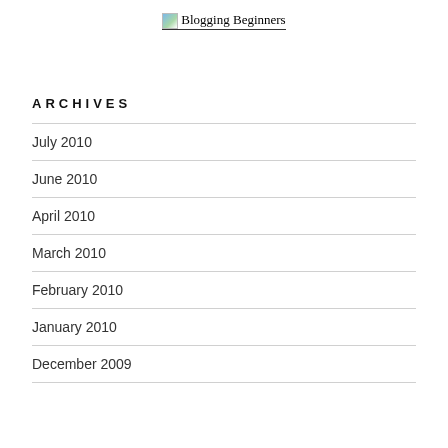Blogging Beginners
ARCHIVES
July 2010
June 2010
April 2010
March 2010
February 2010
January 2010
December 2009